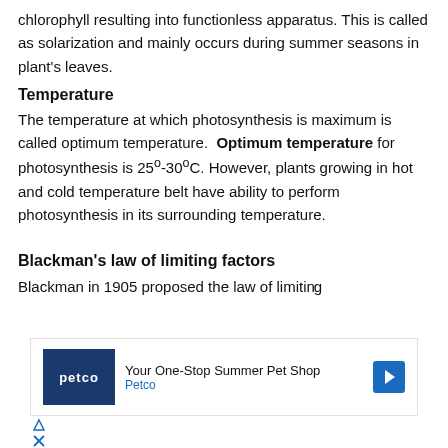chlorophyll resulting into functionless apparatus. This is called as solarization and mainly occurs during summer seasons in plant's leaves.
Temperature
The temperature at which photosynthesis is maximum is called optimum temperature. Optimum temperature for photosynthesis is 25°-30°C. However, plants growing in hot and cold temperature belt have ability to perform photosynthesis in its surrounding temperature.
Blackman's law of limiting factors
Blackman in 1905 proposed the law of limiting...
[Figure (other): Petco advertisement: 'Your One-Stop Summer Pet Shop' with Petco logo and navigation arrow icon]